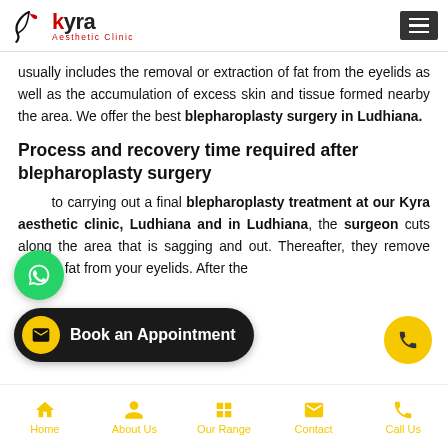Kyra Aesthetic Clinic
usually includes the removal or extraction of fat from the eyelids as well as the accumulation of excess skin and tissue formed nearby the area. We offer the best blepharoplasty surgery in Ludhiana.
Process and recovery time required after blepharoplasty surgery
Prior to carrying out a final blepharoplasty treatment at our Kyra aesthetic clinic, Ludhiana and in Ludhiana, the surgeon cuts along the area that is sagging and out. Thereafter, they remove excess fat from your eyelids. After the
Home  About Us  Our Range  Contact  Call Us